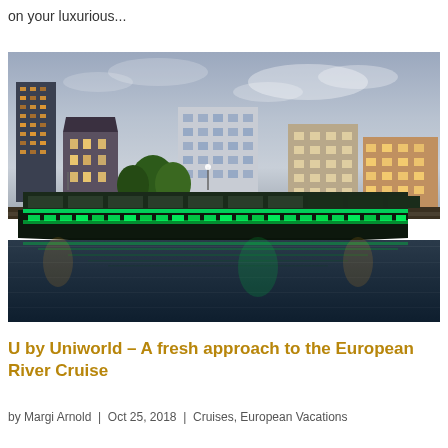on your luxurious...
[Figure (photo): A river cruise ship with green lights docked along a European city waterfront at dusk. City buildings including a tall skyscraper and classic European architecture visible in the background. The ship is illuminated with green neon lights reflected on the water.]
U by Uniworld – A fresh approach to the European River Cruise
by Margi Arnold | Oct 25, 2018 | Cruises, European Vacations